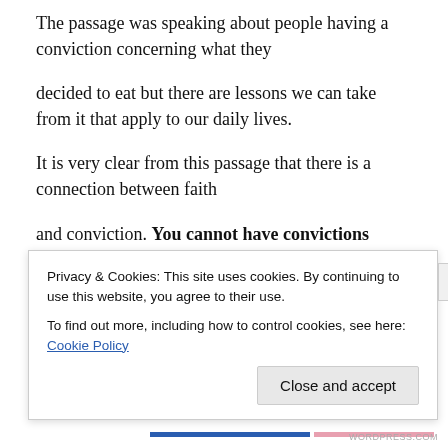The passage was speaking about people having a conviction concerning what they decided to eat but there are lessons we can take from it that apply to our daily lives.
It is very clear from this passage that there is a connection between faith and conviction. You cannot have convictions without faith. For example, I have a conviction that God has a plan for me right. That
Privacy & Cookies: This site uses cookies. By continuing to use this website, you agree to their use.
To find out more, including how to control cookies, see here: Cookie Policy